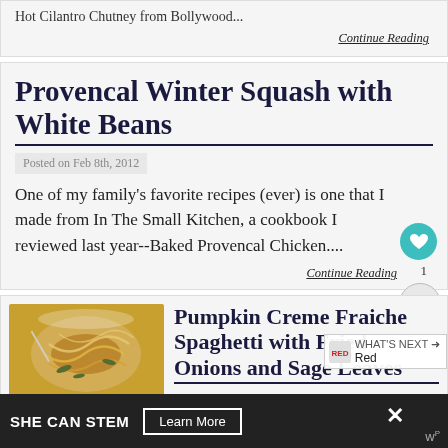Hot Cilantro Chutney from Bollywood...
Continue Reading
Provencal Winter Squash with White Beans
Posted on Feb 8th, 2012
One of my family's favorite recipes (ever) is one that I made from In The Small Kitchen, a cookbook I reviewed last year--Baked Provencal Chicken....
Continue Reading
Pumpkin Creme Fraiche Spaghetti with Fried Onions and Sage Leaves
SHE CAN STEM  Learn More